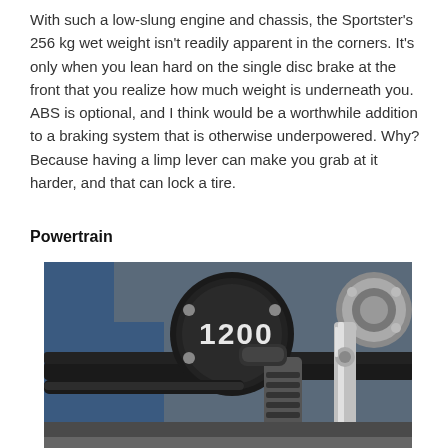With such a low-slung engine and chassis, the Sportster's 256 kg wet weight isn't readily apparent in the corners. It's only when you lean hard on the single disc brake at the front that you realize how much weight is underneath you. ABS is optional, and I think would be a worthwhile addition to a braking system that is otherwise underpowered. Why? Because having a limp lever can make you grab at it harder, and that can lock a tire.
Powertrain
[Figure (photo): Close-up photograph of a Harley-Davidson Sportster 1200 engine and frame components, showing the '1200' engine cover badge, chrome parts, exhaust pipe, and front fork/suspension elements against a blue fuel tank.]